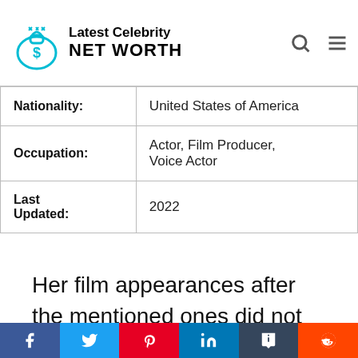Latest Celebrity NET WORTH
| Field | Value |
| --- | --- |
| Nationality: | United States of America |
| Occupation: | Actor, Film Producer, Voice Actor |
| Last Updated: | 2022 |
Her film appearances after the mentioned ones did not receive as much success, unfortunately. In 1994 Meg Ryan's performance was
f  t  p  in  t  reddit